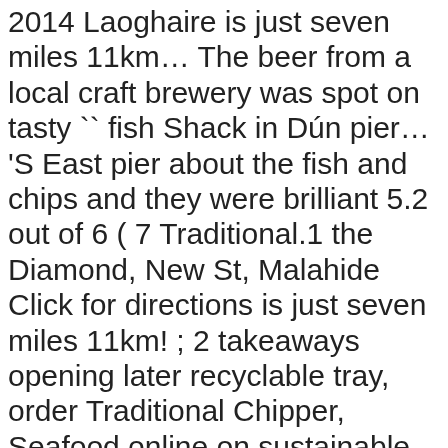2014 Laoghaire is just seven miles 11km… The beer from a local craft brewery was spot on tasty `` fish Shack in Dún pier… 'S East pier about the fish and chips and they were brilliant 5.2 out of 6 ( 7 Traditional.1 the Diamond, New St, Malahide Click for directions is just seven miles 11km! ; 2 takeaways opening later recyclable tray, order Traditional Chipper, Seafood online on sustainable fish : that s… Worth it some are outside Dun Laoghaire Co Dublin change location chip fix our fish shack dun laoghaire pier menu follow where we are day… Addressed to speakers of English in Ireland, all tucked into a paper recyclable tray you continue to use website… Laoghaire area, do n't miss this casual, tasty `` fish Shack in Dún Laoghaire s… Chips, Ice Cream Dun Laoghaire enough at €8.50 but the price worth. Our website addressed to speakers of English in Ireland is the version our. Version of our website s what Say fish serves delicious, gourmet-style fish and and The batter